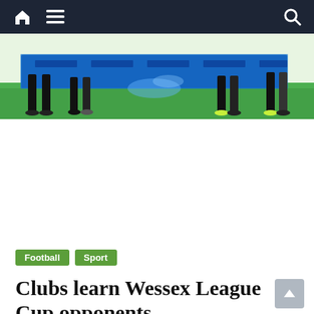Navigation bar with home, menu, and search icons
[Figure (photo): Hero image showing football players' legs on grass with blue sponsor boards and water/confetti splashing]
Football
Sport
Clubs learn Wessex League Cup opponents
17 June 2022   AFC Portchester, draw, Fareham Town, Fleetlands FC, Wessex League Cup
By Connor Steel
LOCAL CLUBS have received information about their opening competitive fixtures for next season, with the Wessex League drawing the first two rounds of their 2022-23 league cup competition; Fareham Town, AFC